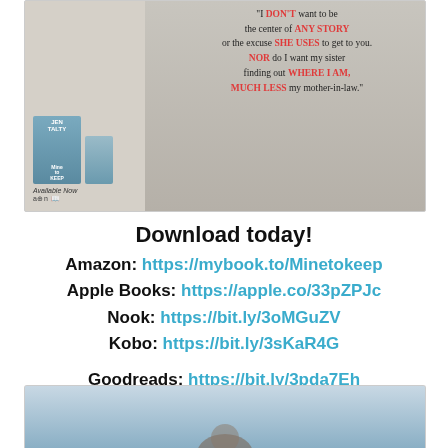[Figure (illustration): Book advertisement image for 'Mine to Keep' by Jen Talty showing book covers and a quote: 'I DON'T want to be the center of ANY STORY or the excuse SHE USES to get to you. NOR do I want my sister finding out WHERE I AM, MUCH LESS my mother-in-law.' Available Now with retailer logos.]
Download today!
Amazon: https://mybook.to/Minetokeep
Apple Books: https://apple.co/33pZPJc
Nook: https://bit.ly/3oMGuZV
Kobo: https://bit.ly/3sKaR4G
Goodreads: https://bit.ly/3pda7Eh
[Figure (photo): Bottom portion of a photo, appears to show a person, cropped at bottom of page.]